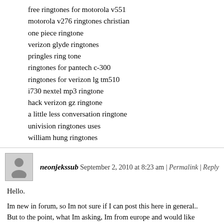free ringtones for motorola v551
motorola v276 ringtones christian
one piece ringtone
verizon glyde ringtones
pringles ring tone
ringtones for pantech c-300
ringtones for verizon lg tm510
i730 nextel mp3 ringtone
hack verizon gz ringtone
a little less conversation ringtone
univision ringtones uses
william hung ringtones
neonjekssub September 2, 2010 at 8:23 am | Permalink | Reply
Hello.
Im new in forum, so Im not sure if I can post this here in general.. But to the point, what Im asking, Im from europe and would like